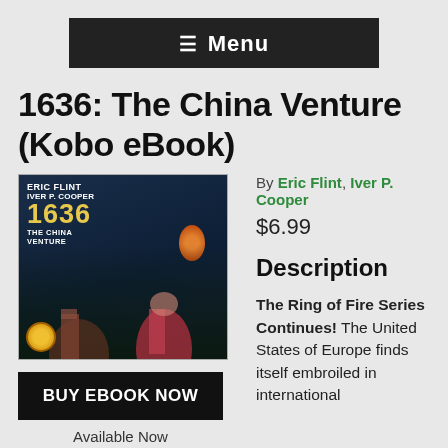≡ Menu
1636: The China Venture (Kobo eBook)
[Figure (illustration): Book cover of '1636: The China Venture' by Eric Flint and Iver P. Cooper, showing two figures in historical/fantasy setting with a glowing lantern, dark blue background.]
By Eric Flint, Iver P. Cooper
$6.99
Description
The Ring of Fire Series Continues! The United States of Europe finds itself embroiled in international
BUY EBOOK NOW
Available Now